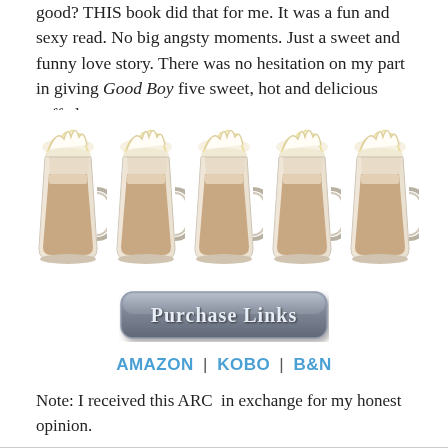good? THIS book did that for me. It was a fun and sexy read. No big angsty moments. Just a sweet and funny love story. There was no hesitation on my part in giving Good Boy five sweet, hot and delicious caffe lattes.
[Figure (illustration): Five caffe latte mugs with whipped cream in a row]
[Figure (illustration): Purchase Links button with decorative metallic styling]
AMAZON | KOBO | B&N
Note: I received this ARC  in exchange for my honest opinion.